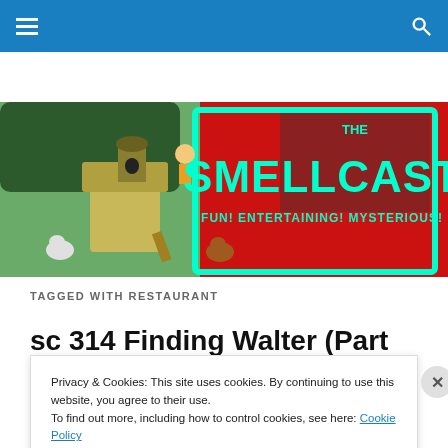Navigation bar with hamburger menu and search icon
[Figure (illustration): The Smellcast website banner showing a chicken coop scene with a child, chickens, and the text 'THE SMELLCAST - FUN! ENTERTAINING! MYSTERIOUS!' in teal on a red background]
TAGGED WITH RESTAURANT
sc 314 Finding Walter (Part
Privacy & Cookies: This site uses cookies. By continuing to use this website, you agree to their use.
To find out more, including how to control cookies, see here: Cookie Policy
Close and accept